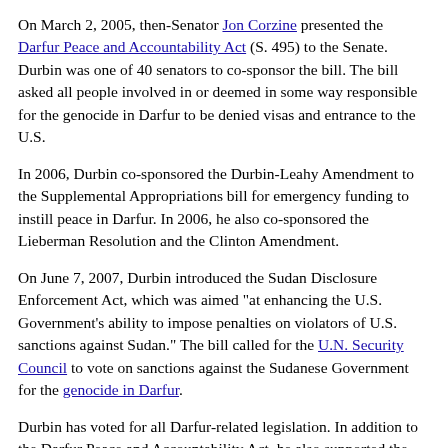On March 2, 2005, then-Senator Jon Corzine presented the Darfur Peace and Accountability Act (S. 495) to the Senate. Durbin was one of 40 senators to co-sponsor the bill. The bill asked all people involved in or deemed in some way responsible for the genocide in Darfur to be denied visas and entrance to the U.S.
In 2006, Durbin co-sponsored the Durbin-Leahy Amendment to the Supplemental Appropriations bill for emergency funding to instill peace in Darfur. In 2006, he also co-sponsored the Lieberman Resolution and the Clinton Amendment.
On June 7, 2007, Durbin introduced the Sudan Disclosure Enforcement Act, which was aimed "at enhancing the U.S. Government's ability to impose penalties on violators of U.S. sanctions against Sudan." The bill called for the U.N. Security Council to vote on sanctions against the Sudanese Government for the genocide in Darfur.
Durbin has voted for all Darfur-related legislation. In addition to the Darfur Peace and Accountability Act, he also supported the Civilian Protection No-Fly Zone Act, the Hybrid Force Resolution, and the Sudan Divestment Authorization Act.
Myanmar